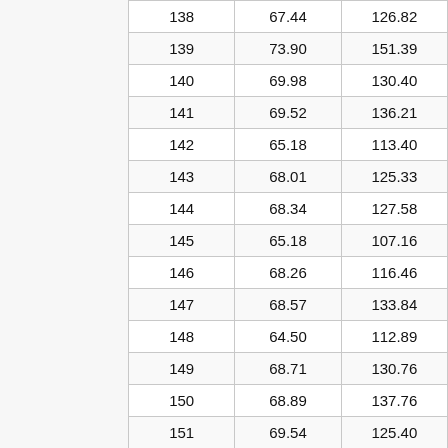| 138 | 67.44 | 126.82 |
| 139 | 73.90 | 151.39 |
| 140 | 69.98 | 130.40 |
| 141 | 69.52 | 136.21 |
| 142 | 65.18 | 113.40 |
| 143 | 68.01 | 125.33 |
| 144 | 68.34 | 127.58 |
| 145 | 65.18 | 107.16 |
| 146 | 68.26 | 116.46 |
| 147 | 68.57 | 133.84 |
| 148 | 64.50 | 112.89 |
| 149 | 68.71 | 130.76 |
| 150 | 68.89 | 137.76 |
| 151 | 69.54 | 125.40 |
| 152 | 67.40 | 138.47 |
| 153 | 66.48 | 120.82 |
| 154 | 66.01 | 140.15 |
| 155 | 72.44 | 136.74 |